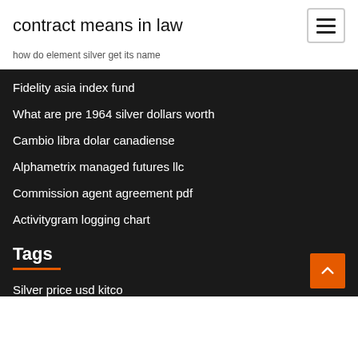contract means in law
how do element silver get its name
Fidelity asia index fund
What are pre 1964 silver dollars worth
Cambio libra dolar canadiense
Alphametrix managed futures llc
Commission agent agreement pdf
Activitygram logging chart
Tags
Silver price usd kitco